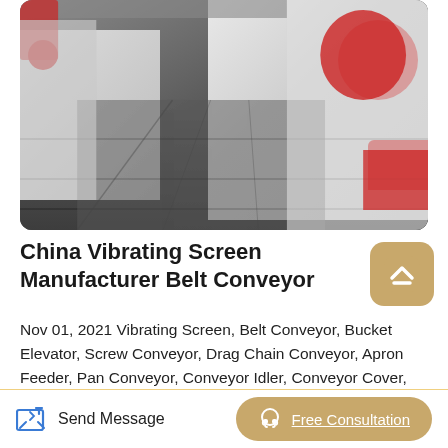[Figure (photo): Factory interior showing industrial machinery — large red and white vibrating screens and belt conveyor equipment lined up in a manufacturing facility with a dark grey floor.]
China Vibrating Screen Manufacturer Belt Conveyor
Nov 01, 2021 Vibrating Screen, Belt Conveyor, Bucket Elevator, Screw Conveyor, Drag Chain Conveyor, Apron Feeder, Pan Conveyor, Conveyor Idler, Conveyor Cover, Dry Mix Mortar Production Line Company Introduction Henan Excellent Machinery is committed to the EPC project of bulk